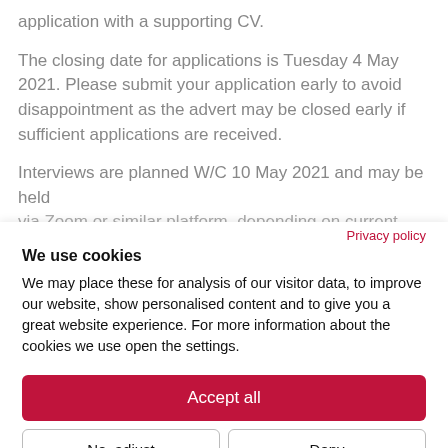application with a supporting CV.
The closing date for applications is Tuesday 4 May 2021. Please submit your application early to avoid disappointment as the advert may be closed early if sufficient applications are received.
Interviews are planned W/C 10 May 2021 and may be held via Zoom or similar platform, depending on current Covid
Privacy policy
We use cookies
We may place these for analysis of our visitor data, to improve our website, show personalised content and to give you a great website experience. For more information about the cookies we use open the settings.
Accept all
No, adjust
Deny